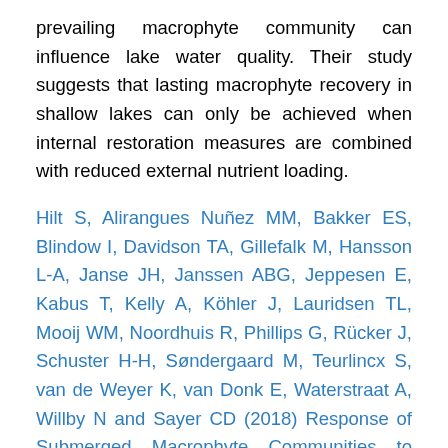prevailing macrophyte community can influence lake water quality. Their study suggests that lasting macrophyte recovery in shallow lakes can only be achieved when internal restoration measures are combined with reduced external nutrient loading.
Hilt S, Alirangues Nuñez MM, Bakker ES, Blindow I, Davidson TA, Gillefalk M, Hansson L-A, Janse JH, Janssen ABG, Jeppesen E, Kabus T, Kelly A, Köhler J, Lauridsen TL, Mooij WM, Noordhuis R, Phillips G, Rücker J, Schuster H-H, Søndergaard M, Teurlincx S, van de Weyer K, van Donk E, Waterstraat A, Willby N and Sayer CD (2018) Response of Submerged Macrophyte Communities to External and Internal Restoration Measures in North Temperate Shallow Lakes. Front. Plant Sci. 9:194. doi: 10.3389/fpls.2018.00194